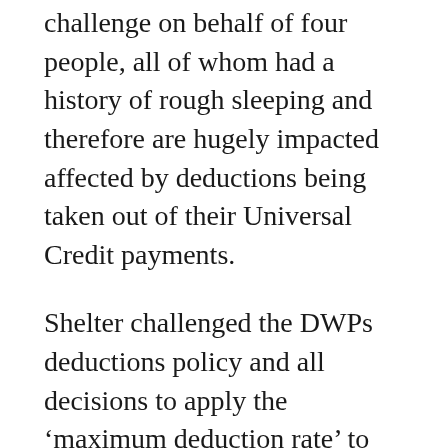challenge on behalf of four people, all of whom had a history of rough sleeping and therefore are hugely impacted affected by deductions being taken out of their Universal Credit payments.
Shelter challenged the DWPs deductions policy and all decisions to apply the ‘maximum deduction rate’ to universal credit. They also challenged this for all court fine payments regardless of the claimant’s personal circumstances.
The DWPs policy of deducting the maximum amount of 30% from the Universal Credit standard allowance leaves claimants with as little as £51 per week to live on, that is unless